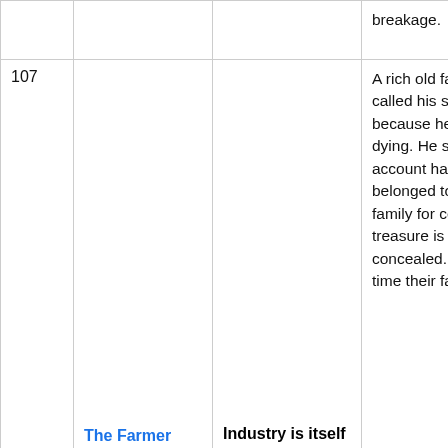| # | Title | Moral | Story |
| --- | --- | --- | --- |
|  |  |  | breakage. |
| 107 | The Farmer And His Sons | Industry is itself a treasure. | A rich old farmer called his sons because he was dying. He said the account had belonged to their family for centuries. A treasure is concealed. By the time their father |